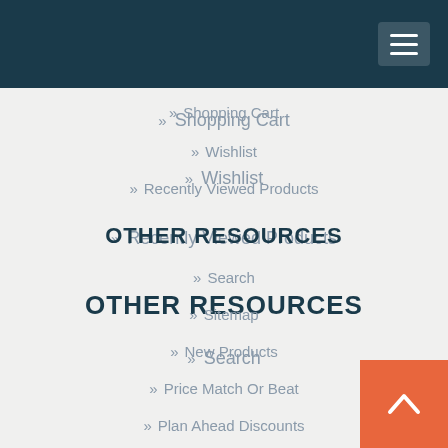Navigation header with hamburger menu
Shopping Cart
Wishlist
Recently Viewed Products
OTHER RESOURCES
Search
Sitemap
New Products
Price Match Or Beat
Plan Ahead Discounts
[Figure (other): Orange back-to-top button with upward chevron arrow in bottom-right corner]